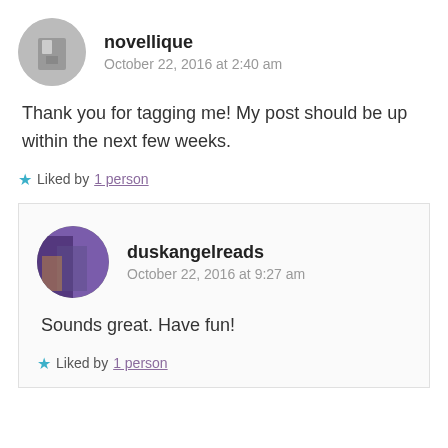[Figure (photo): Circular avatar photo of user novellique, showing a close-up image]
novellique
October 22, 2016 at 2:40 am
Thank you for tagging me! My post should be up within the next few weeks.
Liked by 1 person
[Figure (photo): Circular avatar photo of user duskangelreads, showing a colorful illustrated image]
duskangelreads
October 22, 2016 at 9:27 am
Sounds great. Have fun!
Liked by 1 person